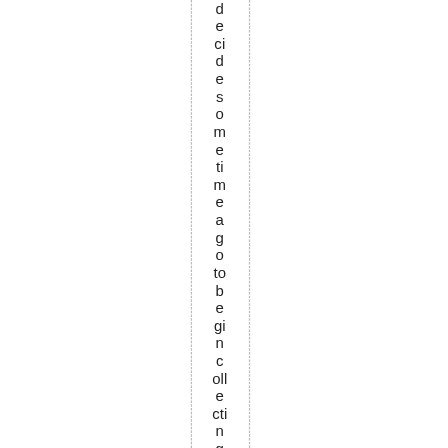decides sometime ago to begin collecting on-car